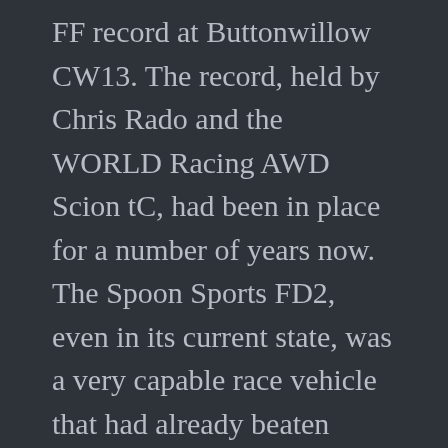FF record at Buttonwillow CW13. The record, held by Chris Rado and the WORLD Racing AWD Scion tC, had been in place for a number of years now. The Spoon Sports FD2, even in its current state, was a very capable race vehicle that had already beaten Rado's record time in practice. All Spoon Sports USA and driver Dai Yoshihara had to do was lay the time down officially at Super Lap Battle 2014.
Unfortunately, some setbacks occurred, preventing the Spoon Sports USA FD2 from